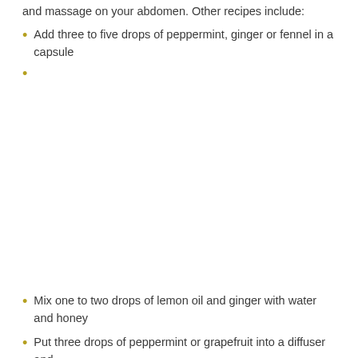and massage on your abdomen. Other recipes include:
Add three to five drops of peppermint, ginger or fennel in a capsule
Mix one to two drops of lemon oil and ginger with water and honey
Put three drops of peppermint or grapefruit into a diffuser and